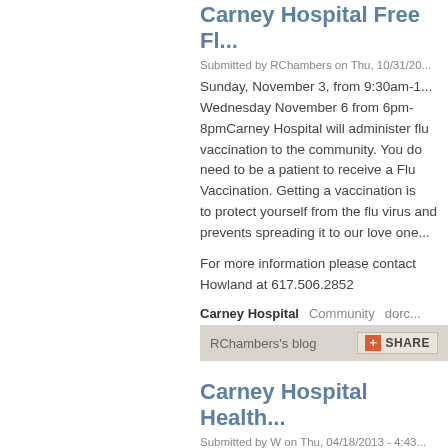Carney Hospital Free Fl...
Submitted by RChambers on Thu, 10/31/20...
Sunday, November 3, from 9:30am-1... Wednesday November 6 from 6pm-8pmCarney Hospital will administer flu vaccination to the community. You do need to be a patient to receive a Flu Vaccination. Getting a vaccination is to protect yourself from the flu virus and prevents spreading it to our love one...
For more information please contact Howland at 617.506.2852
Carney Hospital   Community   dorch...
RChambers's blog
Carney Hospital Health...
Submitted by W on Thu, 04/18/2013 - 4:43...
Carney Hospital will be hosting a Family Fitness Fair on May 4 from 10am to... provide free health screenings, health demonstrations and fun activities fo...